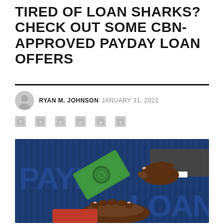TIRED OF LOAN SHARKS? CHECK OUT SOME CBN-APPROVED PAYDAY LOAN OFFERS
RYAN M. JOHNSON  JANUARY 31, 2022
[Figure (illustration): Illustration of a hand in a business suit giving a green banknote to another open hand, against a dark blue background with the word PAYDAY LOANS in large stylized letters. The bill features a circular seal symbol.]